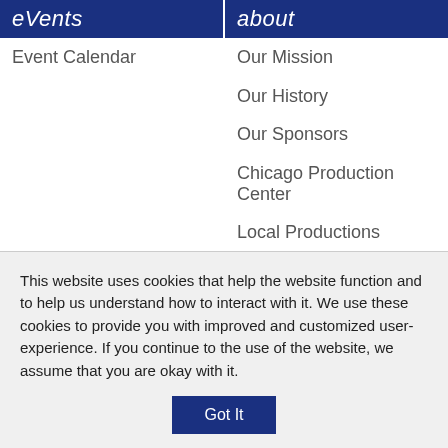eVents
Event Calendar
about
Our Mission
Our History
Our Sponsors
Chicago Production Center
Local Productions
National Syndication
Pressroom
Management & Board
Advisory Board
Financial Information (partially visible)
This website uses cookies that help the website function and to help us understand how to interact with it. We use these cookies to provide you with improved and customized user-experience. If you continue to the use of the website, we assume that you are okay with it.
Got It